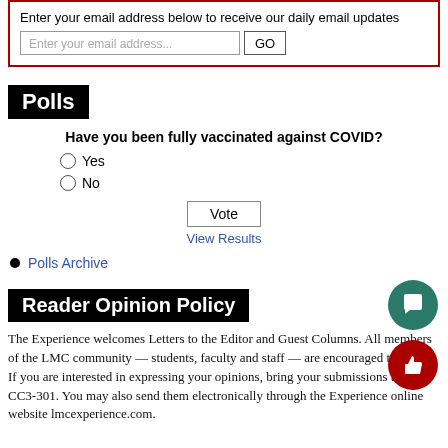Enter your email address below to receive our daily email updates
Polls
Have you been fully vaccinated against COVID?
Yes
No
Vote
View Results
Polls Archive
Reader Opinion Policy
The Experience welcomes Letters to the Editor and Guest Columns. All members of the LMC community — students, faculty and staff — are encouraged to write.
If you are interested in expressing your opinions, bring your submissions to room CC3-301. You may also send them electronically through the Experience online website lmcexperience.com.